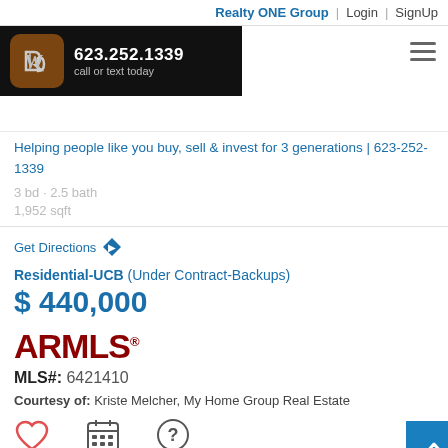Realty ONE Group | Login | SignUp
[Figure (logo): Realty ONE Group agent ad banner with logo, phone number 623.252.1339, and call or text today]
Helping people like you buy, sell & invest for 3 generations | 623-252-1339
Get Directions
Residential-UCB (Under Contract-Backups)
$ 440,000
[Figure (logo): ARMLS logo in dark red]
MLS#: 6421410
Courtesy of: Kriste Melcher, My Home Group Real Estate
Save  Showing  Info